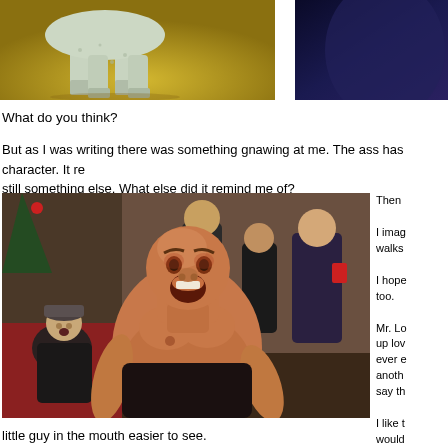[Figure (photo): Close-up photo of a ceramic/jade animal figurine legs on yellow-green surface]
[Figure (photo): Partial dark blue/purple image on the right side]
What do you think?
But as I was writing there was something gnawing at me. The ass has character. It re still something else. What else did it remind me of?
[Figure (photo): Shirtless heavyset man with open mouth expression at a Christmas party, older man in cap visible in background]
Then 

I imag walks

I hope too.

Mr. Lo up lov ever e anoth say th

I like t would
little guy in the mouth easier to see.
[Figure (photo): Partial red-toned image strip at the bottom]